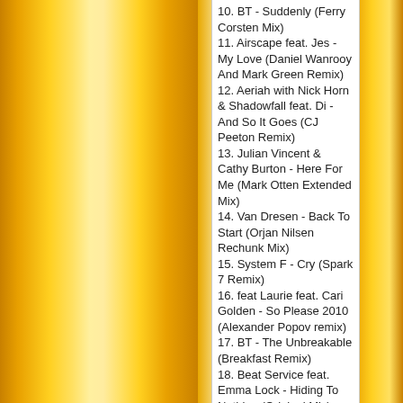10. BT - Suddenly (Ferry Corsten Mix)
11. Airscape feat. Jes - My Love (Daniel Wanrooy And Mark Green Remix)
12. Aeriah with Nick Horn & Shadowfall feat. Di - And So It Goes (CJ Peeton Remix)
13. Julian Vincent & Cathy Burton - Here For Me (Mark Otten Extended Mix)
14. Van Dresen - Back To Start (Orjan Nilsen Rechunk Mix)
15. System F - Cry (Spark 7 Remix)
16. feat Laurie feat. Cari Golden - So Please 2010 (Alexander Popov remix)
17. BT - The Unbreakable (Breakfast Remix)
18. Beat Service feat. Emma Lock - Hiding To Nothing (Original Mix)
19. Mr Sam & Andy Duguid feat. Amanda Wilson - Satisfaction Guaranteed (Steur Bros Remix)
20. Ronski Speed